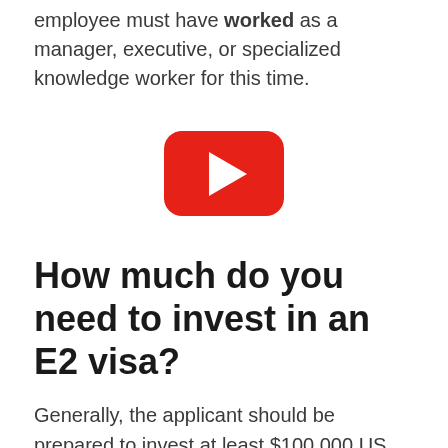employee must have worked as a manager, executive, or specialized knowledge worker for this time.
[Figure (other): YouTube video play button placeholder]
How much do you need to invest in an E2 visa?
Generally, the applicant should be prepared to invest at least $100,000 US dollars in the anticipated as an E2 visa...